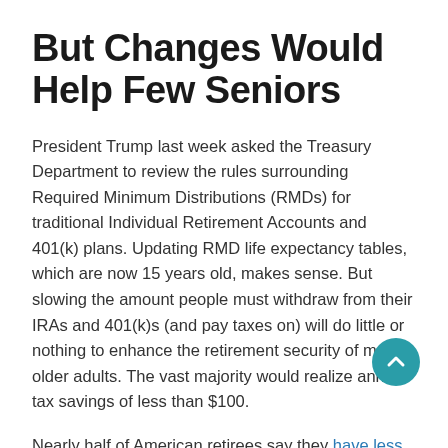But Changes Would Help Few Seniors
President Trump last week asked the Treasury Department to review the rules surrounding Required Minimum Distributions (RMDs) for traditional Individual Retirement Accounts and 401(k) plans. Updating RMD life expectancy tables, which are now 15 years old, makes sense. But slowing the amount people must withdraw from their IRAs and 401(k)s (and pay taxes on) will do little or nothing to enhance the retirement security of most older adults. The vast majority would realize annual tax savings of less than $100.
Nearly half of American retirees say they have less